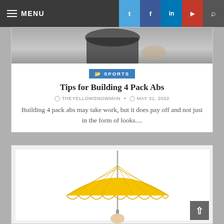MENU | Twitter | Facebook | LinkedIn | YouTube | Search
[Figure (photo): Photo of a person's torso in athletic wear, cropped at mid-body]
SPORTS
Tips for Building 4 Pack Abs
THEYELLOWSNOWMAN · MAY 31, 2022
Building 4 pack abs may take work, but it does pay off and not just in the form of looks....
[Figure (photo): A yellow umbrella held by a hand against a white background]